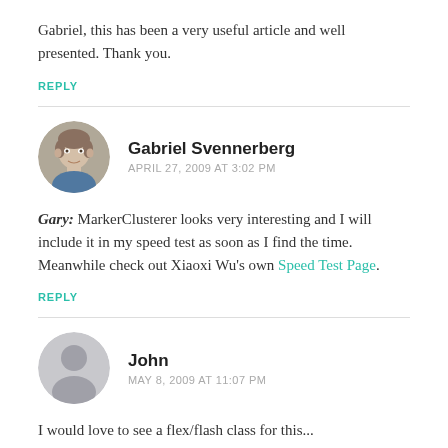Gabriel, this has been a very useful article and well presented. Thank you.
REPLY
Gabriel Svennerberg
APRIL 27, 2009 AT 3:02 PM
Gary: MarkerClusterer looks very interesting and I will include it in my speed test as soon as I find the time. Meanwhile check out Xiaoxi Wu's own Speed Test Page.
REPLY
John
MAY 8, 2009 AT 11:07 PM
I would love to see a flex/flash class for this...
REPLY